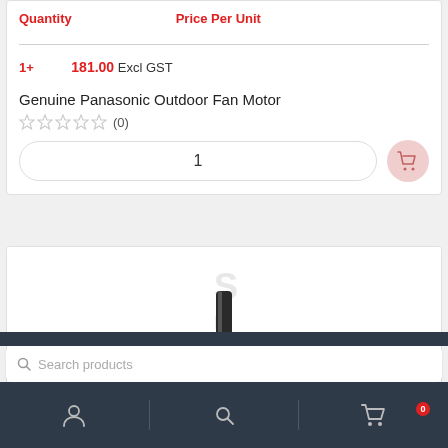| Quantity | Price Per Unit |
| --- | --- |
| 1+ | 181.00 Excl GST |
Genuine Panasonic Outdoor Fan Motor
☆☆☆☆☆ (0)
1
[Figure (photo): Partial view of a Panasonic outdoor fan motor product image showing a motor shaft component against white background]
Search products
Navigation bar with user icon, search icon, and cart icon with badge 0